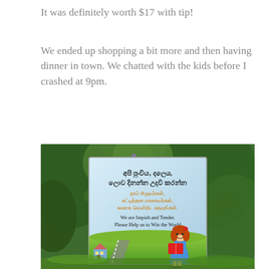It was definitely worth $17 with tip!
We ended up shopping a bit more and then having dinner in town. We chatted with the kids before I crashed at 9pm.
[Figure (photo): A photo of a sign amid green foliage. The sign contains text in Sinhala script, Tamil script, and English. The Sinhala text reads: 'අපි පුංචිය, දලෙය, ලොව දිනන්න උදවි කරන්න'. The Tamil text reads: 'நாம் சிறுவர்கள், சுட்டித்தன மாணவர்கள், உலகை வென்றிட உதவுங்கள்'. The English text reads: 'We are Impish and Tender. Please Help us to Win the World'. The bottom of the sign shows an illustrated green landscape with a road, a small school building, and a cartoon girl reading a red book.]